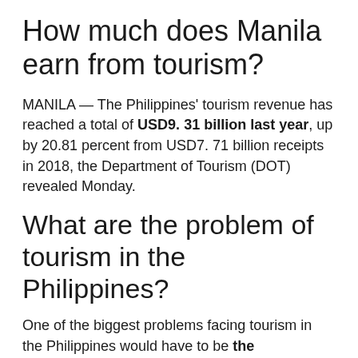How much does Manila earn from tourism?
MANILA — The Philippines' tourism revenue has reached a total of USD9. 31 billion last year, up by 20.81 percent from USD7. 71 billion receipts in 2018, the Department of Tourism (DOT) revealed Monday.
What are the problem of tourism in the Philippines?
One of the biggest problems facing tourism in the Philippines would have to be the incessantly negative portrayals of the country used by foreign media (BBC, CNN, Aljazeera etc) which have, since the